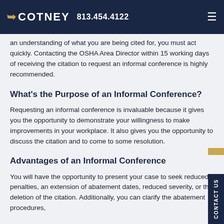COTNEY 813.454.4122
can be to be cited for a violation. Receiving a citation is just not enough. Once you get an understanding of what you are being cited for, you must act quickly. Contacting the OSHA Area Director within 15 working days of receiving the citation to request an informal conference is highly recommended.
What’s the Purpose of an Informal Conference?
Requesting an informal conference is invaluable because it gives you the opportunity to demonstrate your willingness to make improvements in your workplace. It also gives you the opportunity to discuss the citation and to come to some resolution.
Advantages of an Informal Conference
You will have the opportunity to present your case to seek reduced penalties, an extension of abatement dates, reduced severity, or the deletion of the citation. Additionally, you can clarify the abatement procedures,